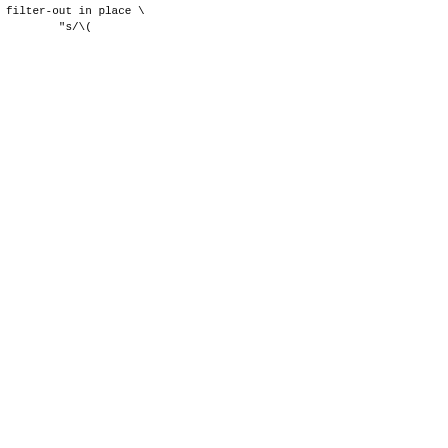Code/terminal output showing shell commands including sed, m4, validate-html-notify, cp, make, and cvs commit operations, with I/O error messages and URLs to xhtml1-strict.dtd